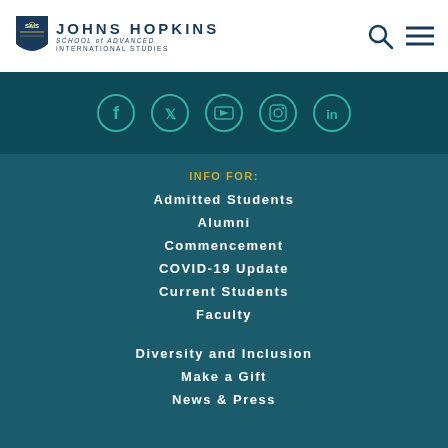Johns Hopkins School of Advanced International Studies
[Figure (logo): Johns Hopkins SAIS shield logo with text]
[Figure (infographic): Social media icon circles: Facebook, Twitter, Email/YouTube, Instagram, LinkedIn]
INFO FOR:
Admitted Students
Alumni
Commencement
COVID-19 Update
Current Students
Faculty
Diversity and Inclusion
Make a Gift
News & Press